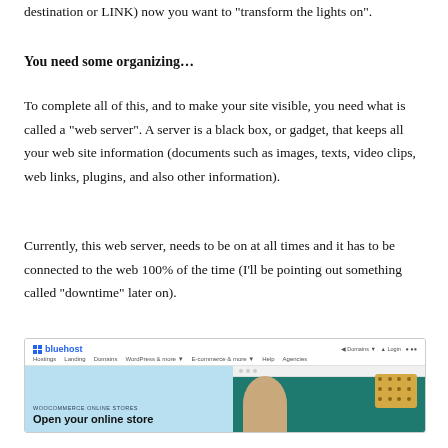destination or LINK) now you want to “transform the lights on”.
You need some organizing…
To complete all of this, and to make your site visible, you need what is called a “web server”. A server is a black box, or gadget, that keeps all your web site information (documents such as images, texts, video clips, web links, plugins, and also other information).
Currently, this web server, needs to be on at all times and it has to be connected to the web 100% of the time (I’ll be pointing out something called “downtime” later on).
[Figure (screenshot): Bluehost website screenshot showing navigation bar and hero section with 'Open your online store' headline and a person visible on the right side against a teal background]